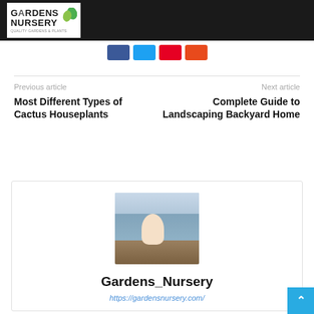Gardens Nursery
[Figure (logo): Gardens Nursery logo with green leaf icon on white background, set in black header bar]
[Figure (infographic): Social share buttons: Facebook (blue), Twitter (light blue), Pinterest (red), Reddit (orange-red)]
Previous article
Most Different Types of Cactus Houseplants
Next article
Complete Guide to Landscaping Backyard Home
[Figure (photo): Author photo: person sitting on rocks by the sea/water]
Gardens_Nursery
https://gardensnursery.com/